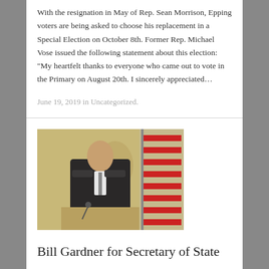With the resignation in May of Rep. Sean Morrison, Epping voters are being asked to choose his replacement in a Special Election on October 8th. Former Rep. Michael Vose issued the following statement about this election: "My heartfelt thanks to everyone who came out to vote in the Primary on August 20th. I sincerely appreciated…
June 19, 2019 in Uncategorized.
[Figure (photo): A man in a dark suit standing at a podium with an American flag in the background]
Bill Gardner for Secretary of State